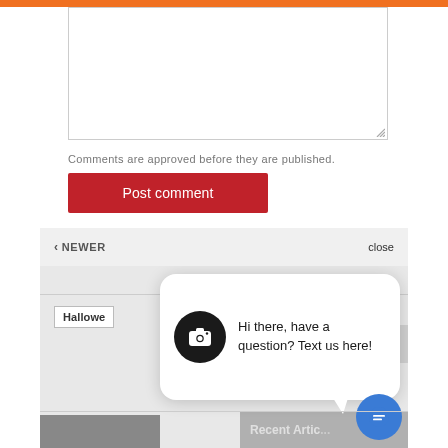[Figure (screenshot): Orange top navigation bar]
[Figure (screenshot): Textarea comment input box with resize handle]
Comments are approved before they are published.
[Figure (screenshot): Post comment red button]
[Figure (screenshot): Navigation bar with NEWER and close labels]
[Figure (screenshot): Content area with Hallowe... tag, arrow up button, Recent Articles button, and chat popup overlay with camera icon saying Hi there, have a question? Text us here!, and blue chat FAB button]